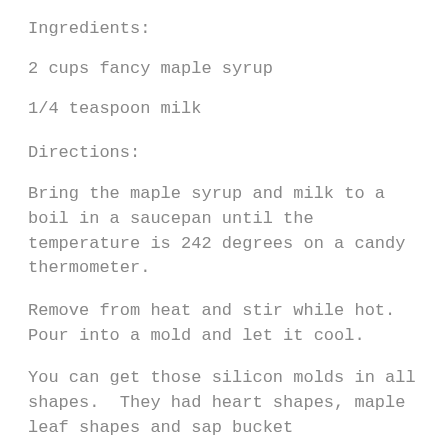Ingredients:
2 cups fancy maple syrup
1/4 teaspoon milk
Directions:
Bring the maple syrup and milk to a boil in a saucepan until the temperature is 242 degrees on a candy thermometer.
Remove from heat and stir while hot.  Pour into a mold and let it cool.
You can get those silicon molds in all shapes.  They had heart shapes, maple leaf shapes and sap bucket